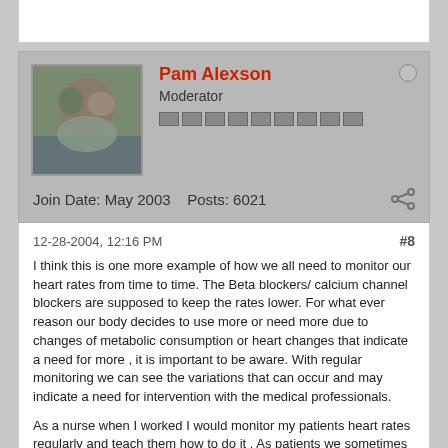[Figure (screenshot): Top portion of a previous forum post card, partially visible]
Pam Alexson
Moderator
Join Date: May 2003    Posts: 6021
12-28-2004, 12:16 PM
#8
I think this is one more example of how we all need to monitor our heart rates from time to time. The Beta blockers/ calcium channel blockers are supposed to keep the rates lower. For what ever reason our body decides to use more or need more due to changes of metabolic consumption or heart changes that indicate a need for more , it is important to be aware. With regular monitoring we can see the variations that can occur and may indicate a need for intervention with the medical professionals.
As a nurse when I worked I would monitor my patients heart rates regularly and teach them how to do it . As patients we sometimes get a little lax with this . I would never consider giving heart meds to a patient if I did not believe the heart rate was high enough for the dose, and the opposite is true too. I would have always wanted a plan in place or communication to the doc if a persons heart was racing or showing a regular increase in rate inspite of compliance with their heart meds.
So this is a heads up to us all . Andrews misfortunate experience can be a wake up call for us all to stay in touch with our vital statistics.